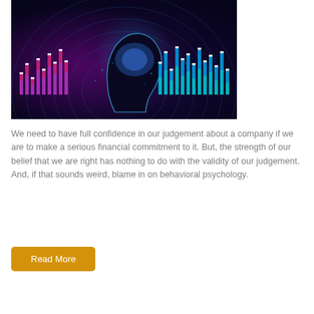[Figure (illustration): Digital illustration of a human head silhouette with a glowing brain, surrounded by colorful equalizer bars (pink, purple, blue, teal) and circuit-like concentric arcs on a dark blue/purple background, suggesting AI or data visualization.]
We need to have full confidence in our judgement about a company if we are to make a serious financial commitment to it. But, the strength of our belief that we are right has nothing to do with the validity of our judgement. And, if that sounds weird, blame in on behavioral psychology.
Read More